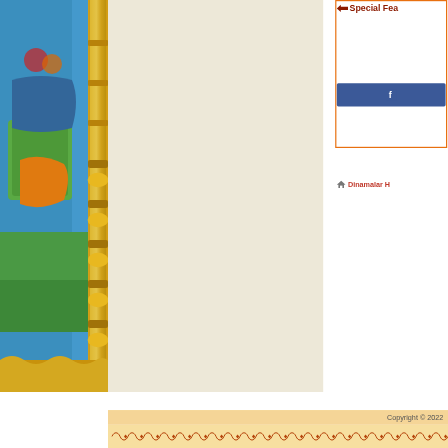[Figure (photo): Colorful Indian temple deity image with ornate golden pillar on the right side and blue/green decorative background on the left side of the page]
Special Fea
[Figure (other): Facebook button (blue) with Facebook 'f' logo icon]
Dinamalar H
Copyright © 2022
[Figure (illustration): Decorative orange/brown scrollwork border pattern along the bottom of the page]